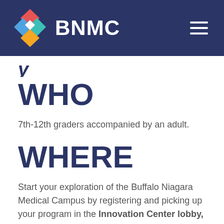[Figure (logo): BNMC logo with colorful diamond shapes and white BNMC text on dark blue background, with hamburger menu icon]
WHO
7th-12th graders accompanied by an adult.
WHERE
Start your exploration of the Buffalo Niagara Medical Campus by registering and picking up your program in the Innovation Center lobby, 640 Ellicott St. Free parking is available across the street